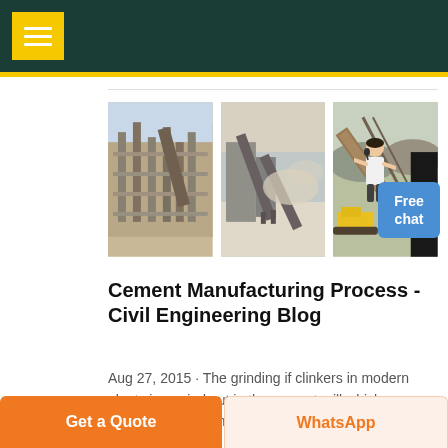[Figure (photo): Three industrial cement plant / quarry conveyor images side by side]
Cement Manufacturing Process - Civil Engineering Blog
Aug 27, 2015 · The grinding if clinkers in modern plants is carried out in the cement mill which contains chromium steel balls of various sizes
Get a Quote | WhatsApp